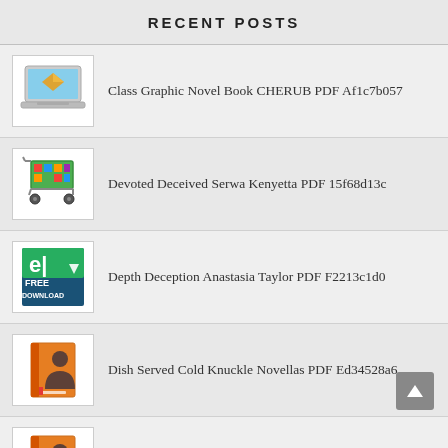RECENT POSTS
Class Graphic Novel Book CHERUB PDF Af1c7b057
Devoted Deceived Serwa Kenyetta PDF 15f68d13c
Depth Deception Anastasia Taylor PDF F2213c1d0
Dish Served Cold Knuckle Novellas PDF Ed34528a6
Legacy Dimarchese Case Bill Mesce PDF E53265255
Fully Loaded Silencer Mike Ryan PDF 92e1f2311